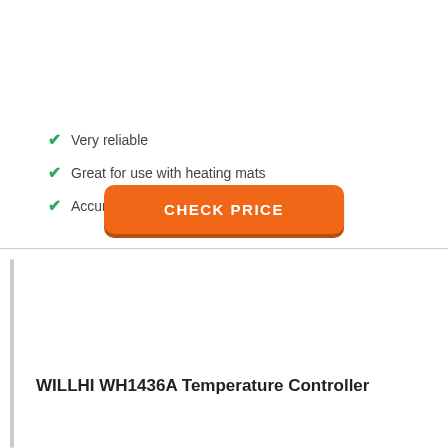Very reliable
Great for use with heating mats
Accurate heating and temperature readouts
CHECK PRICE
WILLHI WH1436A Temperature Controller